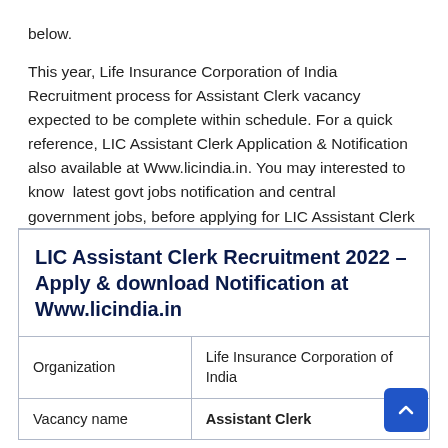below.
This year, Life Insurance Corporation of India Recruitment process for Assistant Clerk vacancy expected to be complete within schedule. For a quick reference, LIC Assistant Clerk Application & Notification also available at Www.licindia.in. You may interested to know  latest govt jobs notification and central government jobs, before applying for LIC Assistant Clerk 2022 vacancy notification.
| LIC Assistant Clerk Recruitment 2022 – Apply & download Notification at Www.licindia.in |
| Organization | Life Insurance Corporation of India |
| Vacancy name | Assistant Clerk |